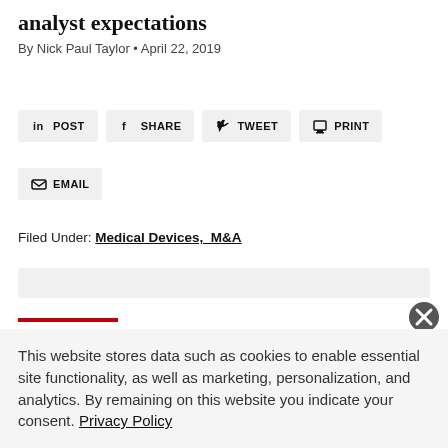analyst expectations
By Nick Paul Taylor • April 22, 2019
[Figure (other): Social sharing buttons: POST (LinkedIn), SHARE (Facebook), TWEET (Twitter), PRINT, EMAIL]
Filed Under: Medical Devices,  M&A
[Figure (other): Gray placeholder bar]
[Figure (other): Red underline section header decoration with partially visible large text below]
This website stores data such as cookies to enable essential site functionality, as well as marketing, personalization, and analytics. By remaining on this website you indicate your consent. Privacy Policy